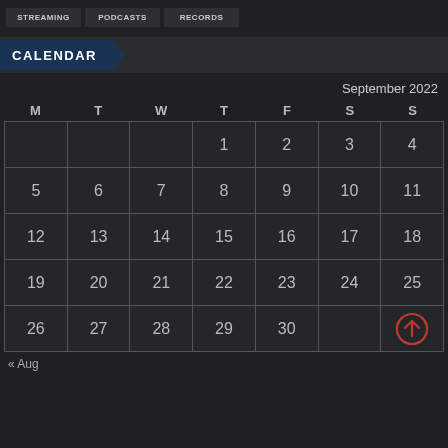[Figure (screenshot): Top navigation bar with three buttons: STREAMING, PODCASTS, RECORDS]
CALENDAR
September 2022
| M | T | W | T | F | S | S |
| --- | --- | --- | --- | --- | --- | --- |
|  |  |  | 1 | 2 | 3 | 4 |
| 5 | 6 | 7 | 8 | 9 | 10 | 11 |
| 12 | 13 | 14 | 15 | 16 | 17 | 18 |
| 19 | 20 | 21 | 22 | 23 | 24 | 25 |
| 26 | 27 | 28 | 29 | 30 |  | ↑ |
« Aug